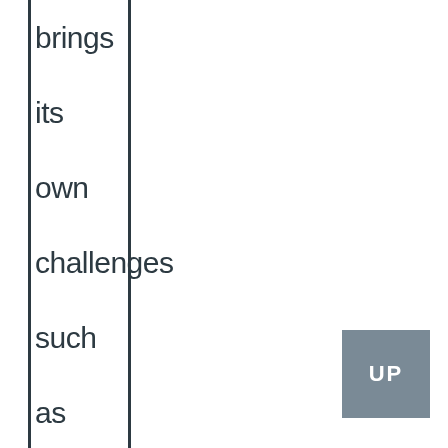brings its own challenges such as dust and dead insects which can quickly build up
[Figure (other): A grey square button with 'UP' text in white]